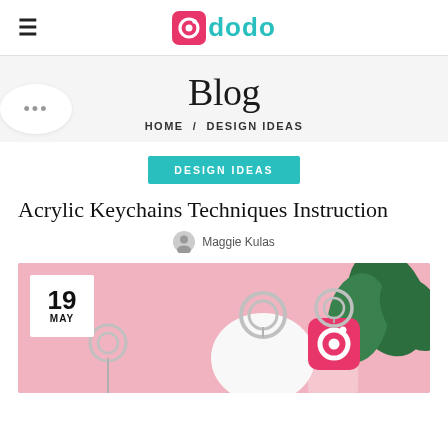≡  dodo
Blog
HOME  /  DESIGN IDEAS
DESIGN IDEAS
Acrylic Keychains Techniques Instruction
Maggie Kulas
[Figure (photo): Pink background photo showing acrylic keychains including a round keychain, a red square Pockyt logo keychain, and an anime figure keychain, with a green plant in the background. Date badge shows 19 MAY.]